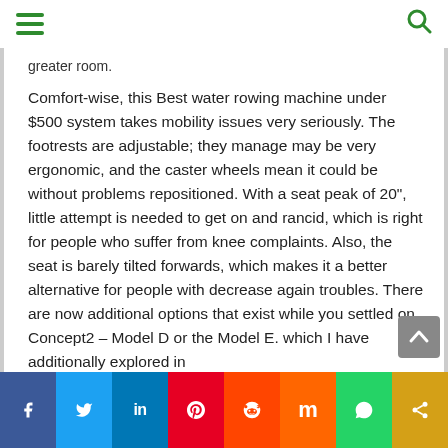[hamburger menu] [search icon]
greater room.
Comfort-wise, this Best water rowing machine under $500 system takes mobility issues very seriously. The footrests are adjustable; they manage may be very ergonomic, and the caster wheels mean it could be without problems repositioned. With a seat peak of 20", little attempt is needed to get on and rancid, which is right for people who suffer from knee complaints. Also, the seat is barely tilted forwards, which makes it a better alternative for people with decrease again troubles. There are now additional options that exist while you settled on Concept2 – Model D or the Model E. which I have additionally explored in
f  Twitter  in  P  Reddit  m  WhatsApp  share